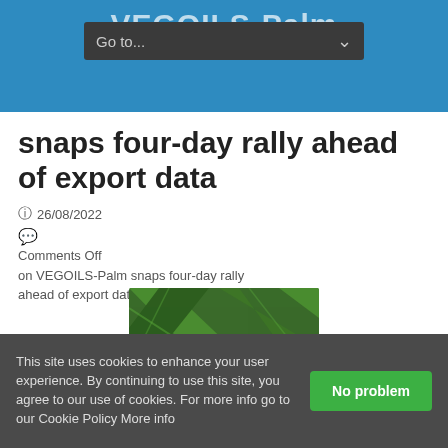VEGOILS-Palm
snaps four-day rally ahead of export data
26/08/2022
Comments Off on VEGOILS-Palm snaps four-day rally ahead of export data
[Figure (photo): A round glass bottle filled with golden palm oil set against a background of green palm leaves.]
This site uses cookies to enhance your user experience. By continuing to use this site, you agree to our use of cookies. For more info go to our Cookie Policy More info